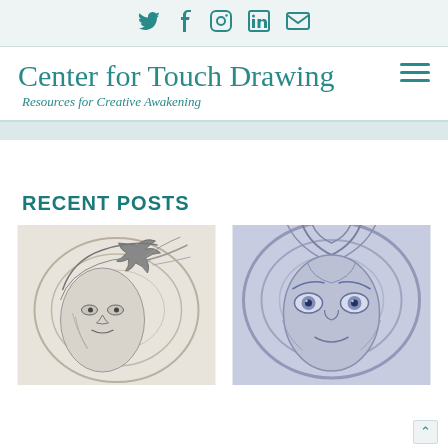[Twitter] [Facebook] [Instagram] [LinkedIn] [Email] social icons
Center for Touch Drawing
Resources for Creative Awakening
RECENT POSTS
[Figure (illustration): Touch drawing artwork showing a woman's face with a bird and swirling lines, pencil/charcoal style]
[Figure (illustration): Touch drawing artwork showing a close-up face with wide eyes and tree-like patterns, blue/grey tones]